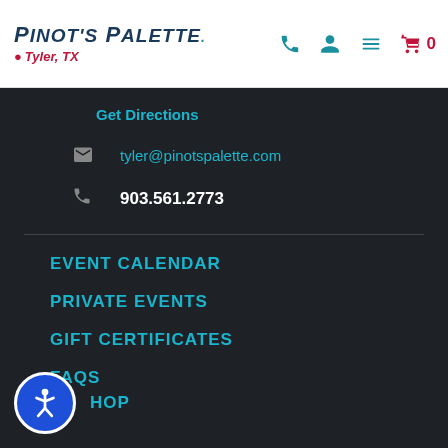Pinot's Palette — Tyler, TX
Get Directions
tyler@pinotspalette.com
903.561.2773
EVENT CALENDAR
PRIVATE EVENTS
GIFT CERTIFICATES
FAQS
HOP